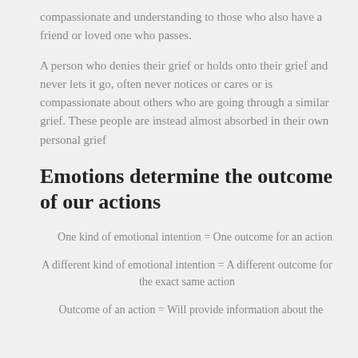compassionate and understanding to those who also have a friend or loved one who passes.
A person who denies their grief or holds onto their grief and never lets it go, often never notices or cares or is compassionate about others who are going through a similar grief. These people are instead almost absorbed in their own personal grief
Emotions determine the outcome of our actions
One kind of emotional intention = One outcome for an action
A different kind of emotional intention = A different outcome for the exact same action
Outcome of an action = Will provide information about the